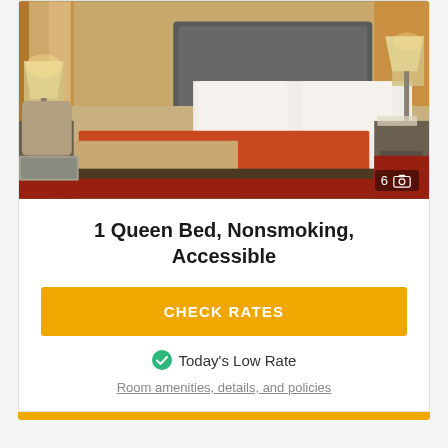[Figure (photo): Hotel room with a queen bed featuring a tan and orange comforter, two bedside lamps, gray headboard, and red carpet.]
1 Queen Bed, Nonsmoking, Accessible
CHECK RATES
Today's Low Rate
Room amenities, details, and policies